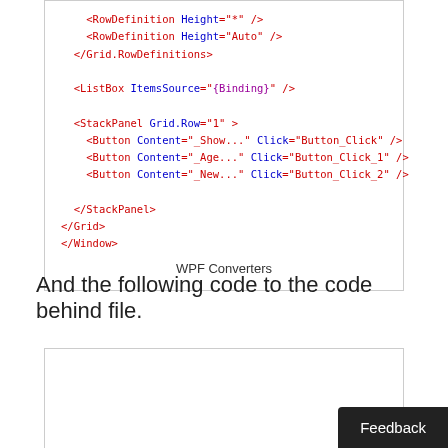[Figure (screenshot): Code box showing XAML markup with RowDefinition, ListBox, StackPanel, and Button elements in red/blue/purple syntax highlighting]
WPF Converters
And the following code to the code behind file.
[Figure (screenshot): Empty code box at bottom of page]